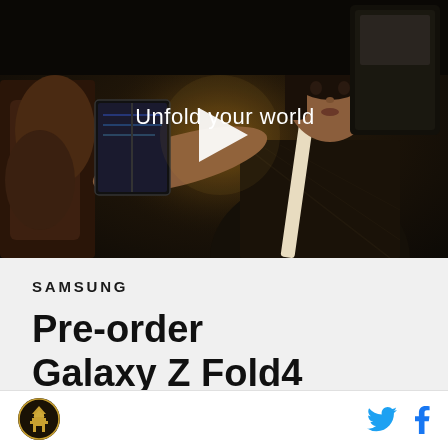[Figure (screenshot): Dark video thumbnail showing a woman in a car holding up a Samsung Galaxy Z Fold4 phone toward the camera, with 'Unfold your world' text and a white play button overlay in the center]
Unfold your world
SAMSUNG
Pre-order
Galaxy Z Fold4
[Figure (photo): Partial view of Samsung Galaxy Z Fold4 phone in teal/green color]
[Figure (logo): Circular logo with dark background and golden pagoda/temple illustration]
[Figure (logo): Twitter bird icon in blue]
[Figure (logo): Facebook f icon in blue]